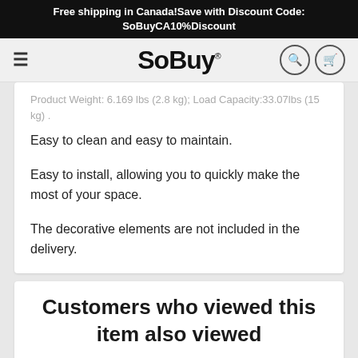Free shipping in Canada!Save with Discount Code: SoBuyCA10%Discount
[Figure (logo): SoBuy logo with hamburger menu, search icon, and cart icon in navigation bar]
Product Weight: 6.169 lbs (2.8 kg); Load Capacity:33.07lbs (15 kg) .
Easy to clean and easy to maintain.
Easy to install, allowing you to quickly make the most of your space.
The decorative elements are not included in the delivery.
Customers who viewed this item also viewed